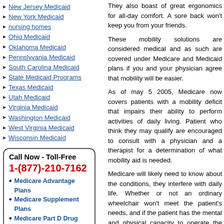New Jersey Medicaid
New York Medicaid
nursing homes
Ohio Medicaid
Oklahoma Medicaid
Pennslyvania Medicaid
South Carolina Medicaid
State Medicaid Programs
Texas Medicaid
Utah Medicaid
Virginia Medicaid
Washington Medicaid
West Virginia Medicaid
Wisconsin Medicaid
Call Now - Toll-Free
1-(877)-210-7162
• Medicare Advantage Plans
• Medicare Supplement Plans
• Medicare Part D Drug Plans
START A SEARCH!
ENHANCED BY Google
They also boast of great ergono... day comfort. A sore back won't ke... friends.
These mobility solutions are cons... such are covered under Medicare... if you and your physician agree... easier.
As of may 5 2005, Medicare now... mobility deficit that impairs their a... of daily living. Patient who think... encouraged to consult with a phy... for a determination of what mobili...
Medicare will likely need to know... they interfere with daily life. Wh... wheelchair won't meet the patie... has the mental and physical capa... If you and your doctor feel ... circumstances, you might well b... Medicare. Talk with your doctor al...
2 RESPONSES TO H... HOVEROUND ELECT... MEDICARE